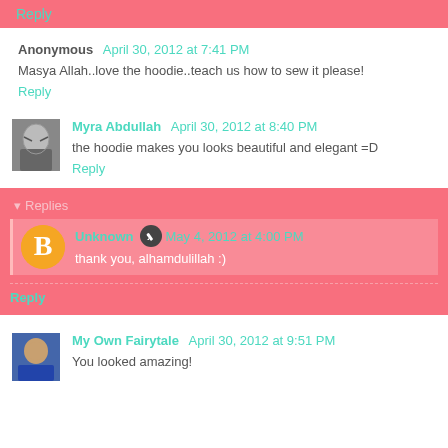Reply
Anonymous  April 30, 2012 at 7:41 PM
Masya Allah..love the hoodie..teach us how to sew it please!
Reply
Myra Abdullah  April 30, 2012 at 8:40 PM
the hoodie makes you looks beautiful and elegant =D
Reply
Replies
Unknown  May 4, 2012 at 4:00 PM
thank you, alhamdulillah :)
Reply
My Own Fairytale  April 30, 2012 at 9:51 PM
You looked amazing!